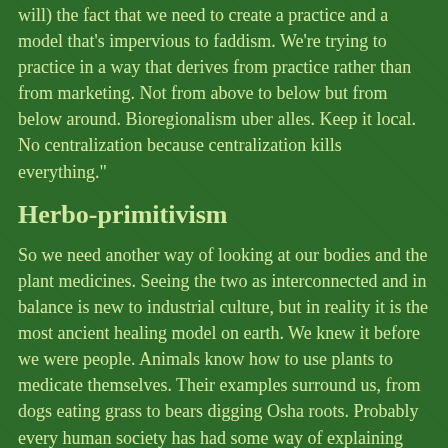will) the fact that we need to create a practice and a model that's impervious to faddism. We're trying to practice in a way that derives from practice rather than from marketing. Not from above to below but from below around. Bioregionalism uber alles. Keep it local. No centralization because centralization kills everything."
Herbo-primitivism
So we need another way of looking at our bodies and the plant medicines. Seeing the two as interconnected and in balance is new to industrial culture, but in reality it is the most ancient healing model on earth. We knew it before we were people. Animals know how to use plants to medicate themselves. Their examples surround us, from dogs eating grass to bears digging Osha roots. Probably every human society has had some way of explaining how the body works and how plant medicines work in us.
One thing all herbalists know - dogs and bears included - is that a health problem is best treated be... [Search this site overlay] more primitive societies where people...